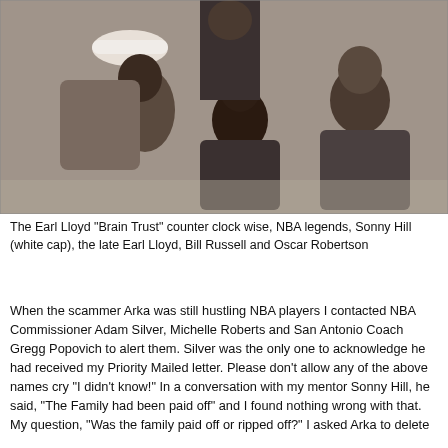[Figure (photo): Group photo of NBA legends Sonny Hill (white cap), the late Earl Lloyd, Bill Russell and Oscar Robertson, gathered and conversing.]
The Earl Lloyd “Brain Trust” counter clock wise, NBA legends, Sonny Hill (white cap), the late Earl Lloyd, Bill Russell and Oscar Robertson
When the scammer Arka was still hustling NBA players I contacted NBA Commissioner Adam Silver, Michelle Roberts and San Antonio Coach Gregg Popovich to alert them. Silver was the only one to acknowledge he had received my Priority Mailed letter. Please don’t allow any of the above names cry “I didn’t know!” In a conversation with my mentor Sonny Hill, he said, “The Family had been paid off” and I found nothing wrong with that. My question, “Was the family paid off or ripped off?” I asked Arka to delete